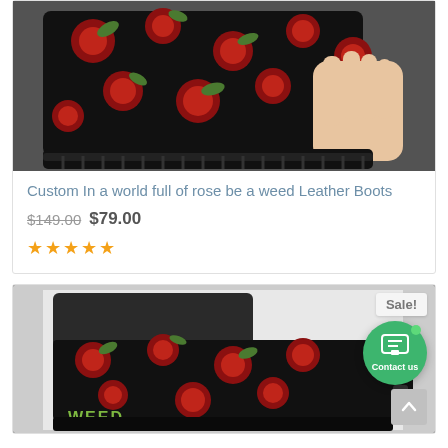[Figure (photo): Close-up photo of a hand holding a black leather boot with red rose floral pattern print, shown against a white background.]
Custom In a world full of rose be a weed Leather Boots
$149.00 $79.00
[Figure (illustration): Five gold star rating icons]
[Figure (photo): Photo of a pair of black boots with red rose floral pattern, displayed in a white box. A green 'Sale!' badge is visible in the top right. A green circular 'Contact us' chat button and a grey scroll-to-top arrow are overlaid on the image.]